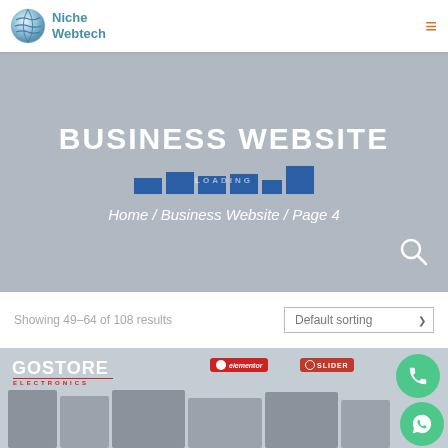Niche Webtech
BUSINESS WEBSITE
Home / Business Website / Page 4
Showing 49–64 of 108 results
[Figure (screenshot): GoStore Electronics WordPress theme product card with elementor and slider revolution badges, phone and WhatsApp contact buttons, and product mockup screenshots]